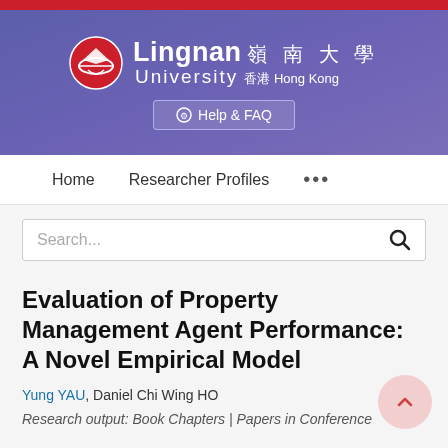[Figure (logo): Lingnan University logo with red circular emblem and white/red university name in English and Chinese, on blue-purple gradient banner]
⊕ Help & FAQ
Home   Researcher Profiles   ...
Search...
Evaluation of Property Management Agent Performance: A Novel Empirical Model
Yung YAU, Daniel Chi Wing HO
Research output: Book Chapters | Papers in Conference